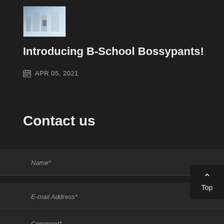[Figure (photo): Small thumbnail image of a person in a city/business setting with soft blue-grey tones]
Introducing B-School Bossypants!
APR 05, 2021
Contact us
Name*
E-mail Address*
Comment*